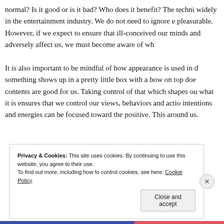normal? Is it good or is it bad? Who does it benefit? The techni widely in the entertainment industry. We do not need to ignore e pleasurable. However, if we expect to ensure that ill-conceived our minds and adversely affect us, we must become aware of wh
It is also important to be mindful of how appearance is used in something shows up in a pretty little box with a bow on top doe contents are good for us. Taking control of that which shapes ou what it is ensures that we control our views, behaviors and actio intentions and energies can be focused toward the positive. This around us.
Privacy & Cookies: This site uses cookies. By continuing to use this website, you agree to their use.
To find out more, including how to control cookies, see here: Cookie Policy
Close and accept